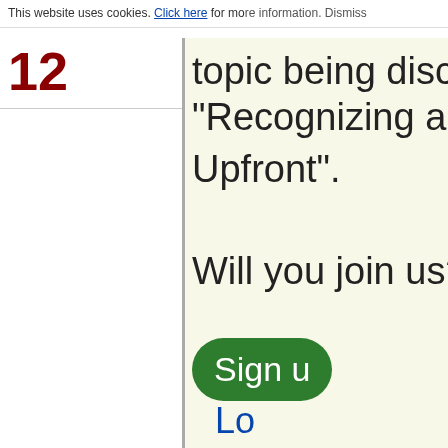This website uses cookies. Click here for more information. Dismiss
12
topic being discuss "Recognizing a Ba Upfront".
Will you join us? It'
Sign u
Lo